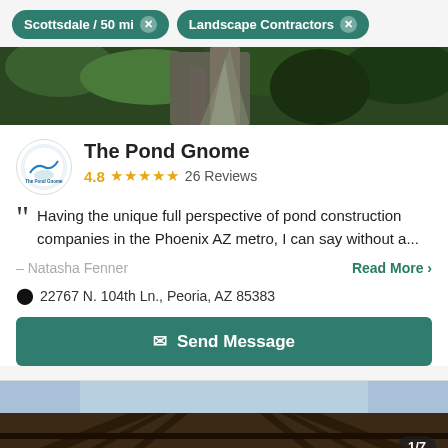Scottsdale / 50 mi  Landscape Contractors
[Figure (photo): Waterfall and green foliage outdoor landscape photo]
The Pond Gnome
4.8  ★★★★★  26 Reviews
Having the unique full perspective of pond construction companies in the Phoenix AZ metro, I can say without a...
– Natasha Fenner   Read More >
22767 N. 104th Ln., Peoria, AZ 85383
Send Message
[Figure (photo): Wooden pergola/gazebo structure with sky visible, photo counter 1/7]